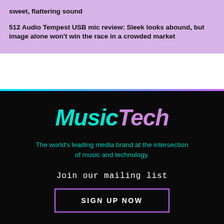sweet, flattering sound
512 Audio Tempest USB mic review: Sleek looks abound, but image alone won't win the race in a crowded market
[Figure (logo): MusicTech logo in cyan and purple/pink italic bold text on dark background]
The world's leading media brand at the intersection of music and technology.
Join our mailing list
SIGN UP NOW